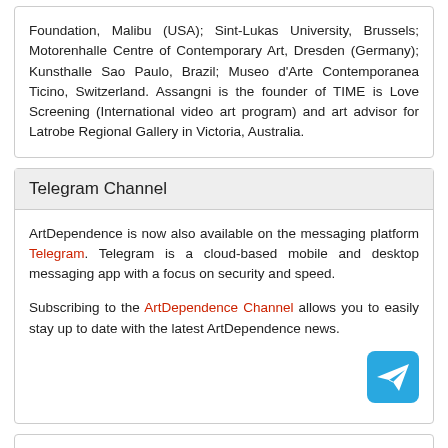Foundation, Malibu (USA); Sint-Lukas University, Brussels; Motorenhalle Centre of Contemporary Art, Dresden (Germany); Kunsthalle Sao Paulo, Brazil; Museo d'Arte Contemporanea Ticino, Switzerland. Assangni is the founder of TIME is Love Screening (International video art program) and art advisor for Latrobe Regional Gallery in Victoria, Australia.
Telegram Channel
ArtDependence is now also available on the messaging platform Telegram. Telegram is a cloud-based mobile and desktop messaging app with a focus on security and speed.
Subscribing to the ArtDependence Channel allows you to easily stay up to date with the latest ArtDependence news.
[Figure (logo): Telegram paper plane logo icon, cyan/blue square with rounded corners and white paper plane icon]